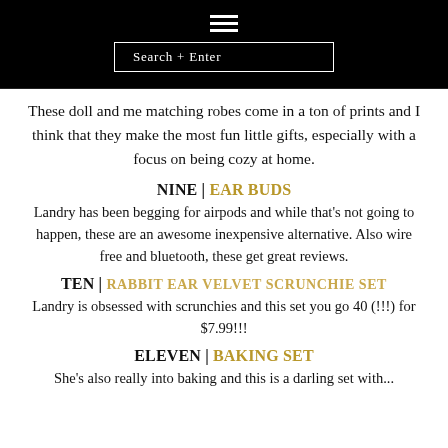Search + Enter
These doll and me matching robes come in a ton of prints and I think that they make the most fun little gifts, especially with a focus on being cozy at home.
NINE | EAR BUDS
Landry has been begging for airpods and while that’s not going to happen, these are an awesome inexpensive alternative. Also wire free and bluetooth, these get great reviews.
TEN | RABBIT EAR VELVET SCRUNCHIE SET
Landry is obsessed with scrunchies and this set you go 40 (!!!) for $7.99!!!
ELEVEN | BAKING SET
She’s also really into baking and this is a darling set with...